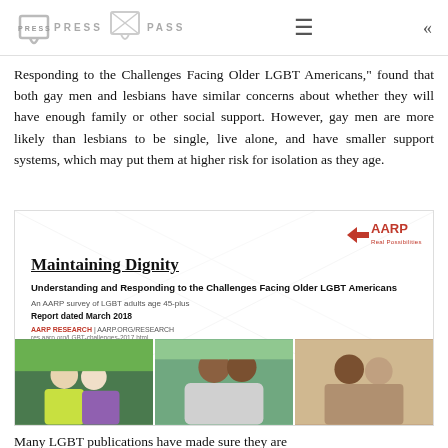PRESS PASS
Responding to the Challenges Facing Older LGBT Americans," found that both gay men and lesbians have similar concerns about whether they will have enough family or other social support. However, gay men are more likely than lesbians to be single, live alone, and have smaller support systems, which may put them at higher risk for isolation as they age.
[Figure (other): Cover image of AARP report titled 'Maintaining Dignity: Understanding and Responding to the Challenges Facing Older LGBT Americans'. An AARP survey of LGBT adults age 45-plus. Report dated March 2018. AARP RESEARCH | AARP.ORG/RESEARCH. Features three photos of older adults.]
Many LGBT publications have made sure they are